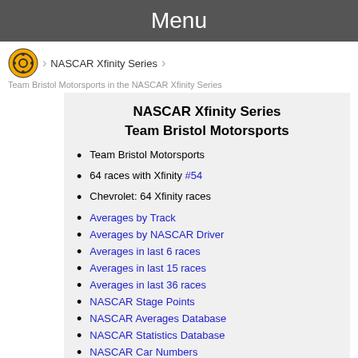Menu
NASCAR Xfinity Series
Team Bristol Motorsports in the NASCAR Xfinity Series
NASCAR Xfinity Series
Team Bristol Motorsports
Team Bristol Motorsports
64 races with Xfinity #54
Chevrolet: 64 Xfinity races
Averages by Track
Averages by NASCAR Driver
Averages in last 6 races
Averages in last 15 races
Averages in last 36 races
NASCAR Stage Points
NASCAR Averages Database
NASCAR Statistics Database
NASCAR Car Numbers
NASCAR Teams Statistics
Xfinity Series Averages